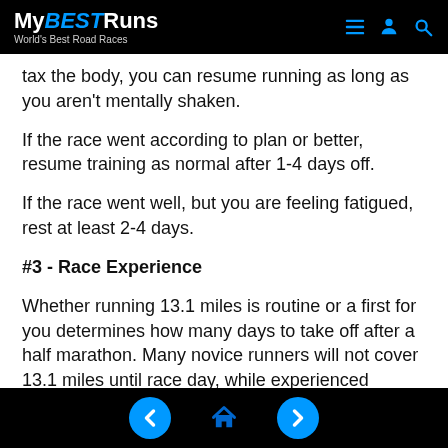MyBESTRuns — World's Best Road Races
tax the body, you can resume running as long as you aren't mentally shaken.
If the race went according to plan or better, resume training as normal after 1-4 days off.
If the race went well, but you are feeling fatigued, rest at least 2-4 days.
#3 - Race Experience
Whether running 13.1 miles is routine or a first for you determines how many days to take off after a half marathon. Many novice runners will not cover 13.1 miles until race day, while experienced runners will cover that distance at least one day per week.
Navigation: back, home, forward